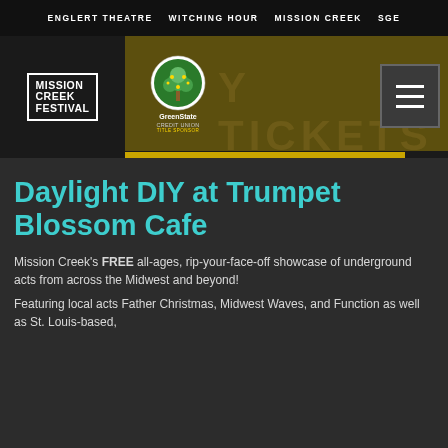ENGLERT THEATRE  WITCHING HOUR  MISSION CREEK  SGE
[Figure (logo): Mission Creek Festival logo with GreenState Credit Union Title Sponsor logo and BUY TICKETS text banner with hamburger menu button]
Daylight DIY at Trumpet Blossom Cafe
Mission Creek's FREE all-ages, rip-your-face-off showcase of underground acts from across the Midwest and beyond!
Featuring local acts Father Christmas, Midwest Waves, and Function as well as St. Louis-based,